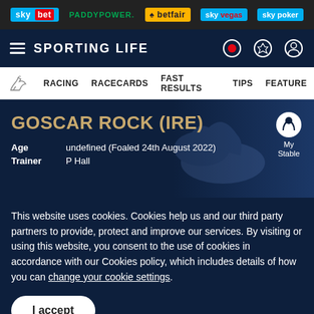[Figure (screenshot): Top ad bar with Sky Bet, Paddy Power, Betfair, Sky Vegas, Sky Poker logos on dark background]
SPORTING LIFE
RACING   RACECARDS   FAST RESULTS   TIPS   FEATURES
GOSCAR ROCK (IRE)
Age   undefined (Foaled 24th August 2022)
Trainer   P Hall
This website uses cookies. Cookies help us and our third party partners to provide, protect and improve our services. By visiting or using this website, you consent to the use of cookies in accordance with our Cookies policy, which includes details of how you can change your cookie settings.
I accept